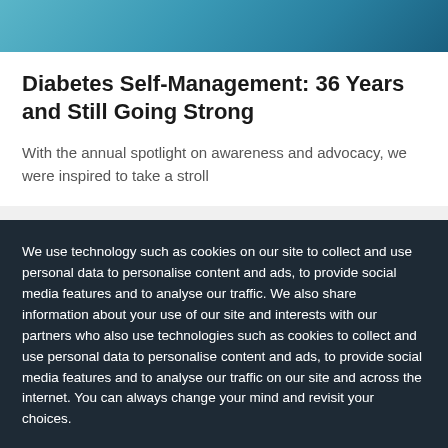[Figure (photo): Teal/blue gradient image at top of page, partially cropped]
Diabetes Self-Management: 36 Years and Still Going Strong
With the annual spotlight on awareness and advocacy, we were inspired to take a stroll down memory lane and look at the read...
We use technology such as cookies on our site to collect and use personal data to personalise content and ads, to provide social media features and to analyse our traffic. We also share information about your use of our site and interests with our partners who also use technologies such as cookies to collect and use personal data to personalise content and ads, to provide social media features and to analyse our traffic on our site and across the internet. You can always change your mind and revisit your choices.